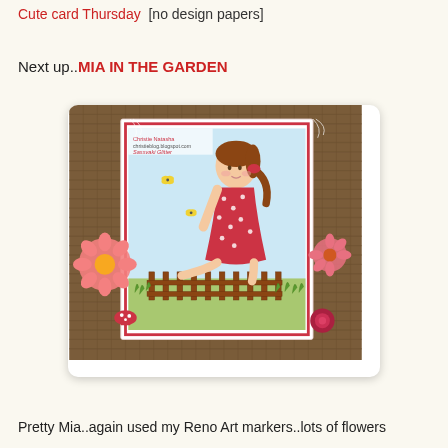Cute card Thursday  [no design papers]
Next up..MIA IN THE GARDEN
[Figure (photo): A handmade craft card featuring a girl illustration in a red polka-dot dress sitting in a garden, surrounded by pink flowers, feathers, and decorative elements on a woven background]
Pretty Mia..again used my Reno Art markers..lots of flowers